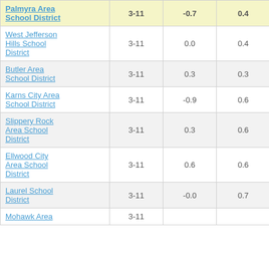| District | Grades | Col3 | Col4 | Score |
| --- | --- | --- | --- | --- |
| Palmyra Area School District | 3-11 | -0.7 | 0.4 | -1.68 |
| West Jefferson Hills School District | 3-11 | 0.0 | 0.4 | 0.03 |
| Butler Area School District | 3-11 | 0.3 | 0.3 | 1.07 |
| Karns City Area School District | 3-11 | -0.9 | 0.6 | -1.37 |
| Slippery Rock Area School District | 3-11 | 0.3 | 0.6 | 0.49 |
| Ellwood City Area School District | 3-11 | 0.6 | 0.6 | 1.00 |
| Laurel School District | 3-11 | -0.0 | 0.7 | -0.04 |
| Mohawk Area | 3-11 | ... | ... | ... |